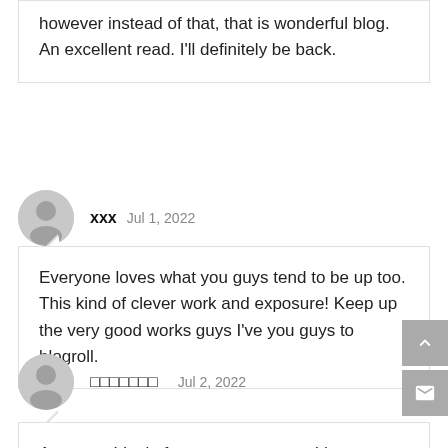however instead of that, that is wonderful blog. An excellent read. I'll definitely be back.
xxx   Jul 1, 2022
Everyone loves what you guys tend to be up too. This kind of clever work and exposure! Keep up the very good works guys I've you guys to blogroll.
ภาษาไทย   Jul 2, 2022
Awesome! Its in fact awesome post, I have got much clear idea concerning from this post.